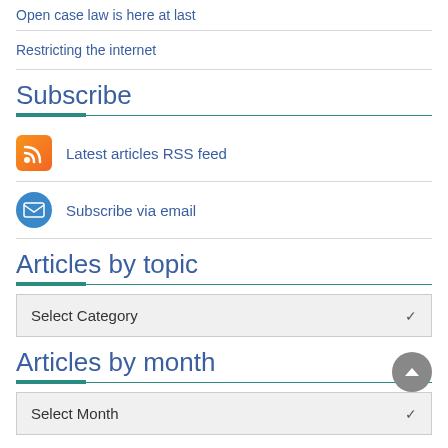Open case law is here at last
Restricting the internet
Subscribe
Latest articles RSS feed
Subscribe via email
Articles by topic
Select Category
Articles by month
Select Month